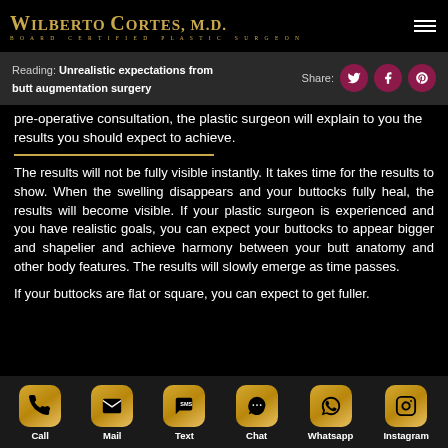[Figure (logo): Wilberto Cortes M.D. Board Certified Plastic Surgeon logo in gold text on black background]
Reading: Unrealistic expectations from butt augmentation surgery | Share:
pre-operative consultation, the plastic surgeon will explain to you the results you should expect to achieve.
The results will not be fully visible instantly. It takes time for the results to show. When the swelling disappears and your buttocks fully heal, the results will become visible. If your plastic surgeon is experienced and you have realistic goals, you can expect your buttocks to appear bigger and shapelier and achieve harmony between your butt anatomy and other body features. The results will slowly emerge as time passes.
If your buttocks are flat or square, you can expect to get fuller.
[Figure (infographic): Bottom navigation bar with gold icons: Call, Mail, Text, Chat, Whatsapp, Instagram]